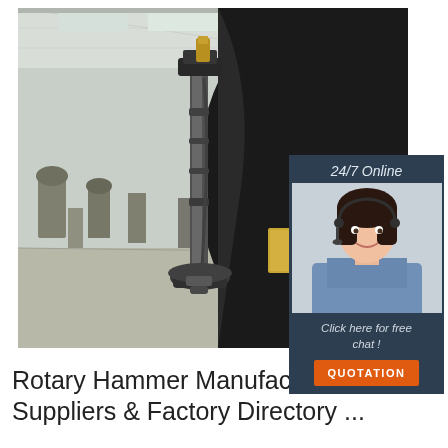[Figure (photo): Industrial rotary hammer / forging press machine in a factory warehouse setting. Large black heavy machinery in foreground with similar equipment visible in the background on a concrete floor under a corrugated metal roof.]
[Figure (photo): Customer service agent widget: woman with headset smiling, dark navy background, text '24/7 Online', 'Click here for free chat!', and orange QUOTATION button.]
Rotary Hammer Manufacturers, Suppliers & Factory Directory ...